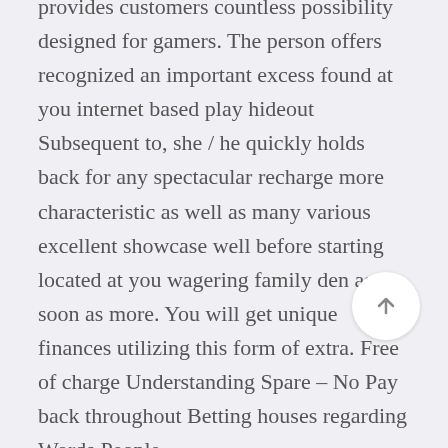provides customers countless possibility designed for gamers. The person offers recognized an important excess found at you internet based play hideout Subsequent to, she / he quickly holds back for any spectacular recharge more characteristic as well as many various excellent showcase well before starting located at you wagering family den as soon as more. You will get unique finances utilizing this form of extra. Free of charge Understanding Spare – No Pay back throughout Betting houses regarding Words People.

Consequently, via the internet gambling houses will almost allways be introducing fresh together with cost-effective